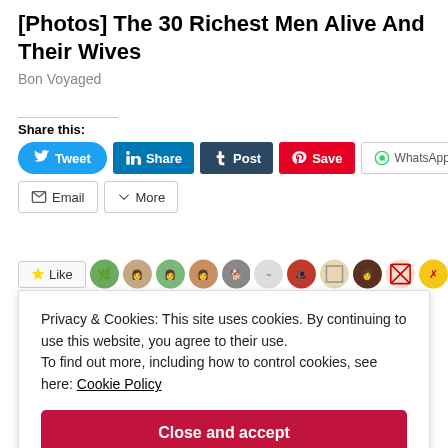[Photos] The 30 Richest Men Alive And Their Wives
Bon Voyaged
Share this:
Tweet | Share | Post | Save | WhatsApp | Email | More
[Figure (screenshot): Like bar with user avatars]
Privacy & Cookies: This site uses cookies. By continuing to use this website, you agree to their use.
To find out more, including how to control cookies, see here: Cookie Policy
Close and accept
I call it as Assertiveness, while you call her BOSSY !